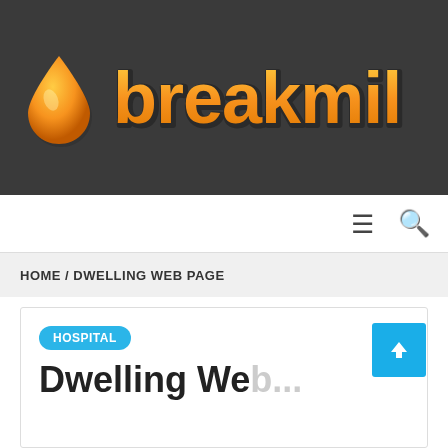[Figure (logo): Breakmil logo: orange water drop icon followed by bold orange text 'breakmil' on dark gray background]
≡  🔍
HOME / DWELLING WEB PAGE
HOSPITAL
Dwelling Web...